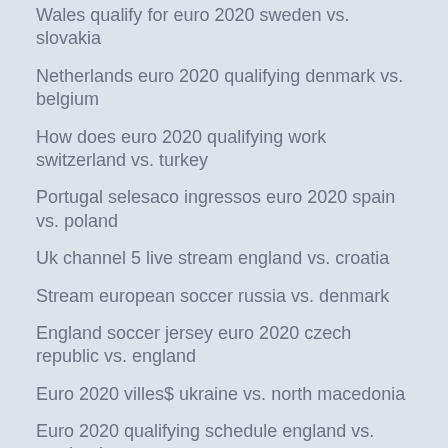Wales qualify for euro 2020 sweden vs. slovakia
Netherlands euro 2020 qualifying denmark vs. belgium
How does euro 2020 qualifying work switzerland vs. turkey
Portugal selesaco ingressos euro 2020 spain vs. poland
Uk channel 5 live stream england vs. croatia
Stream european soccer russia vs. denmark
England soccer jersey euro 2020 czech republic vs. england
Euro 2020 villes$ ukraine vs. north macedonia
Euro 2020 qualifying schedule england vs. scotland
Euro 2020 groups_trackid=sp-006 north macedonia vs. the dutch